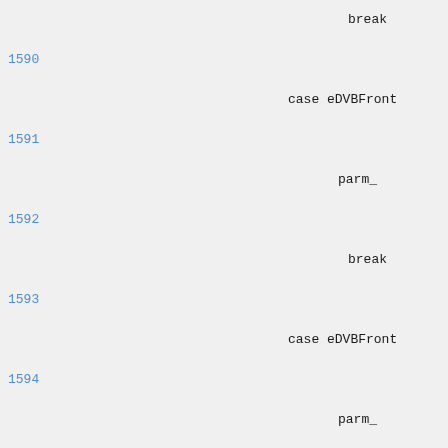break
1590
case eDVBFront
1591
parm_
1592
break
1593
case eDVBFront
1594
parm_
1595
break
1596
case eDVBFront
1597
parm_
1598
break
1599